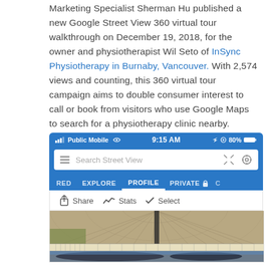Marketing Specialist Sherman Hu published a new Google Street View 360 virtual tour walkthrough on December 19, 2018, for the owner and physiotherapist Wil Seto of InSync Physiotherapy in Burnaby, Vancouver. With 2,574 views and counting, this 360 virtual tour campaign aims to double consumer interest to call or book from visitors who use Google Maps to search for a physiotherapy clinic nearby.
[Figure (screenshot): Mobile screenshot of Google Street View app showing status bar with 'Public Mobile' carrier, 9:15 AM, 80% battery, a search bar with 'Search Street View' placeholder, navigation tabs (FEATURED, EXPLORE, PROFILE, PRIVATE), and action buttons (Share, Stats, Select), followed by thumbnail images of 360 photos.]